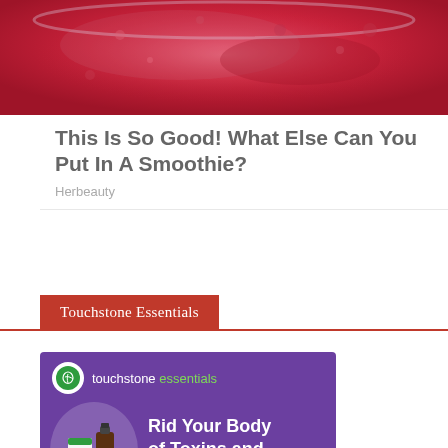[Figure (photo): Close-up photo of a red/pink berry smoothie in a glass jar, viewed from above]
This Is So Good! What Else Can You Put In A Smoothie?
Herbeauty
Touchstone Essentials
[Figure (illustration): Touchstone Essentials advertisement banner with purple background showing product bottle and box, text: Rid Your Body of Toxins and Heavy Metals, CLAIM YOUR BOTTLE button, Join Over 50,000 Detox Customers.]